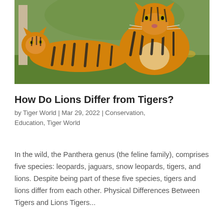[Figure (photo): Two tigers (orange with black stripes) lying on green grass with autumn leaves and trees in the background]
How Do Lions Differ from Tigers?
by Tiger World | Mar 29, 2022 | Conservation, Education, Tiger World
In the wild, the Panthera genus (the feline family), comprises five species: leopards, jaguars, snow leopards, tigers, and lions. Despite being part of these five species, tigers and lions differ from each other. Physical Differences Between Tigers and Lions Tigers...